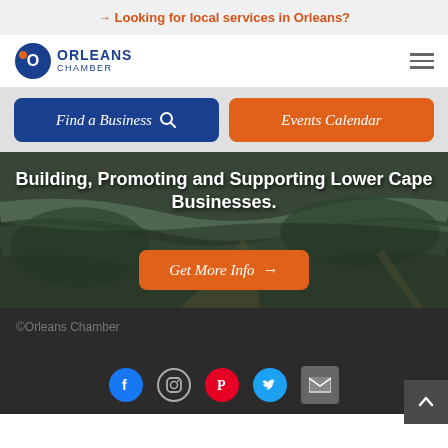→ Looking for local services in Orleans?
[Figure (logo): Orleans Chamber logo with blue circular icon and text]
Find a Business 🔍
Events Calendar
Building, Promoting and Supporting Lower Cape Businesses.
Get More Info →
©Orleans Chamber
[Figure (infographic): Social media icons: Facebook, Instagram, Pinterest, Twitter, Email]